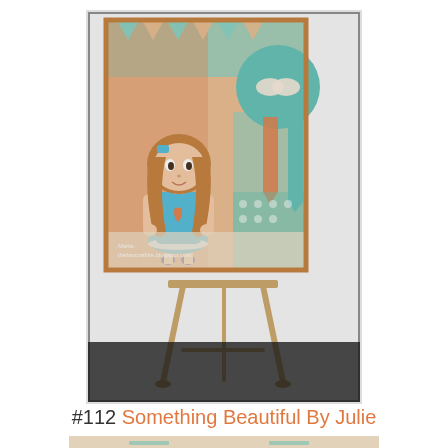[Figure (photo): A handmade greeting card displayed on a small wooden easel. The card features a cute cartoon girl with auburn hair and a teal dress, with a heart on her shirt, standing in front of a decorative orange and teal patterned background with bunting banners, a large teal circle with a white bow, and teal/orange ribbon banners. Small watermark text at the bottom reads 'Marla- thefancraftlife.blogspot.com'. The card is framed with an orange border.]
#112 Something Beautiful By Julie
[Figure (photo): Partial view of another handmade card with a light floral/vine pattern background, showing partial decorative elements in gold and teal, partially cut off at bottom of page.]